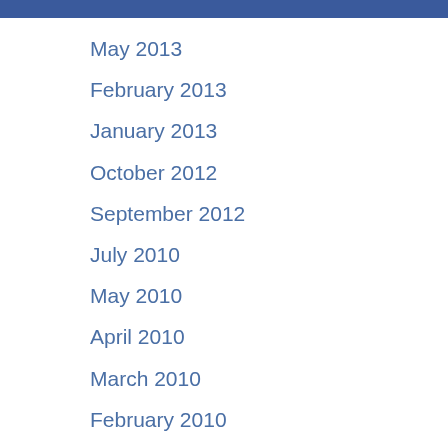May 2013
February 2013
January 2013
October 2012
September 2012
July 2010
May 2010
April 2010
March 2010
February 2010
June 2009
April 2009
March 2009
February 2009
January 2009
December 2008
November 2008
October 2008
September 2008